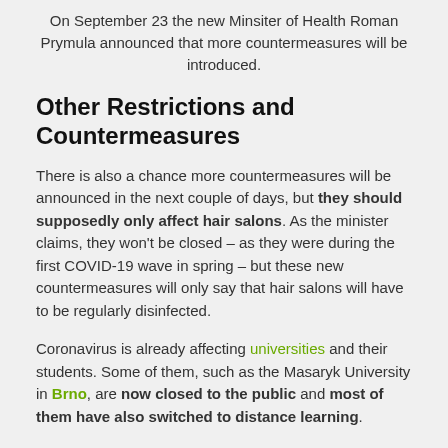On September 23 the new Minsiter of Health Roman Prymula announced that more countermeasures will be introduced.
Other Restrictions and Countermeasures
There is also a chance more countermeasures will be announced in the next couple of days, but they should supposedly only affect hair salons. As the minister claims, they won't be closed – as they were during the first COVID-19 wave in spring – but these new countermeasures will only say that hair salons will have to be regularly disinfected.
Coronavirus is already affecting universities and their students. Some of them, such as the Masaryk University in Brno, are now closed to the public and most of them have also switched to distance learning.